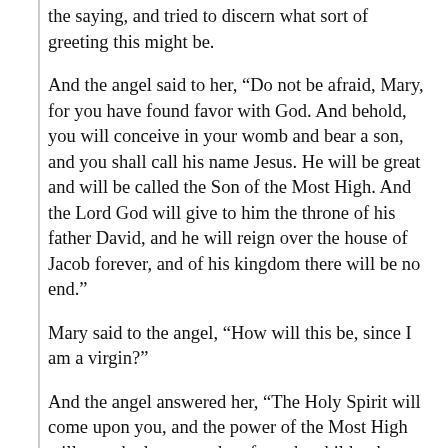the saying, and tried to discern what sort of greeting this might be.
And the angel said to her, “Do not be afraid, Mary, for you have found favor with God. And behold, you will conceive in your womb and bear a son, and you shall call his name Jesus. He will be great and will be called the Son of the Most High. And the Lord God will give to him the throne of his father David, and he will reign over the house of Jacob forever, and of his kingdom there will be no end.”
Mary said to the angel, “How will this be, since I am a virgin?”
And the angel answered her, “The Holy Spirit will come upon you, and the power of the Most High will overshadow you; therefore, the child to be born will be called holy—the Son of God. And behold, your relative Elizabeth in her old age has also conceived a son, and this is the